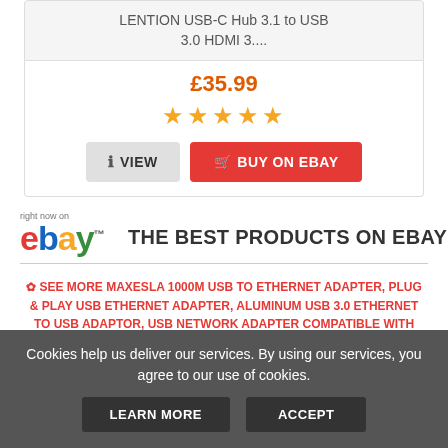LENTION USB-C Hub 3.1 to USB 3.0 HDMI 3....
£35.99
[Figure (other): Five gold stars rating]
VIEW
BUY ON EBAY
[Figure (logo): eBay logo with 'right now on' text above]
THE BEST PRODUCTS ON EBAY
✿ SEE MORE MAXESLA 1000M USB TO ETHERNET ADAPTER, PLUG & PLAY USB ETHERNET ADAPTER, ALUMINUM USB 3.0 ETHERNET TO USB ADAPTOR, USB NETWORK ADAPTER COMPATIBLE WITH MACBOOK PRO/AIR,IPAD AIR/PRO,SURFACE BOOK ON EBAY
Cookies help us deliver our services. By using our services, you agree to our use of cookies.
LEARN MORE
ACCEPT